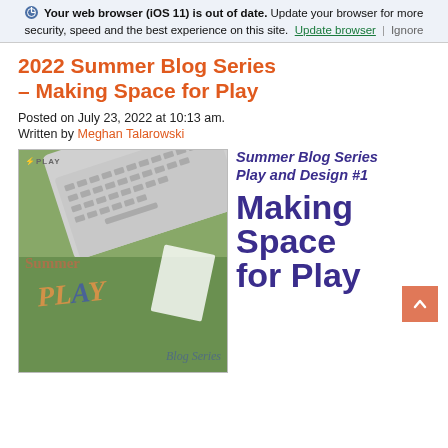Your web browser (iOS 11) is out of date. Update your browser for more security, speed and the best experience on this site. Update browser | Ignore
2022 Summer Blog Series – Making Space for Play
Posted on July 23, 2022 at 10:13 am.
Written by Meghan Talarowski
[Figure (photo): Photo composite showing a laptop keyboard on grass background with text overlays reading 'Summer', 'PLAY', 'Blog Series', and a small PLAY logo in the top left corner]
Summer Blog Series
Play and Design #1
Making Space for Play